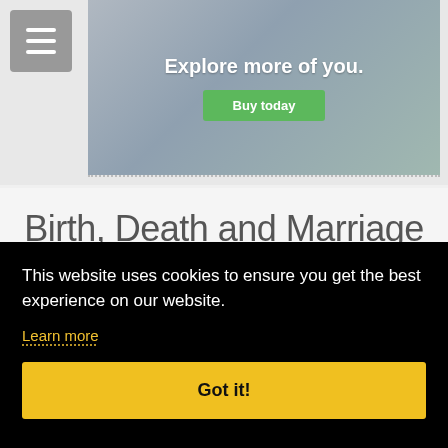[Figure (screenshot): Website header with hamburger menu button and advertisement banner showing 'Explore more of you.' with a green 'Buy today' button]
Birth, Death and Marriage Records for the Abramin Family Tree
This website uses cookies to ensure you get the best experience on our website.
Learn more
Got it!
they are normally the most formal record of a